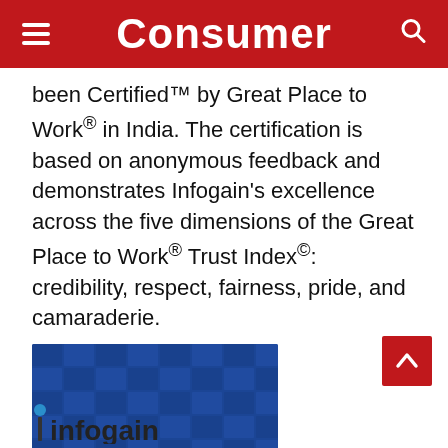Consumer
been Certified™ by Great Place to Work® in India. The certification is based on anonymous feedback and demonstrates Infogain's excellence across the five dimensions of the Great Place to Work® Trust Index©: credibility, respect, fairness, pride, and camaraderie.
[Figure (photo): Infogain company image with Great Place to Work Certified badge on blue background with mosaic of employee photos]
[Figure (logo): Infogain logo at bottom of page]